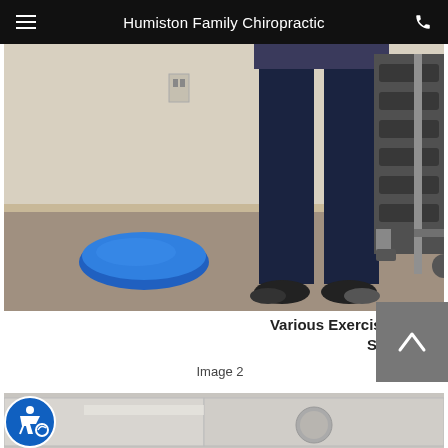Humiston Family Chiropractic
[Figure (photo): Person standing in a chiropractic office wearing dark jeans and sneakers, with a blue balance disc on the carpet floor and exercise equipment visible on the right side.]
Various Exercises are Personally Prescribed to Speed Up Recovery
Image 2
[Figure (photo): Close-up view of what appears to be a chiropractic treatment table or ceiling tiles, light gray in color with a circular cutout visible.]